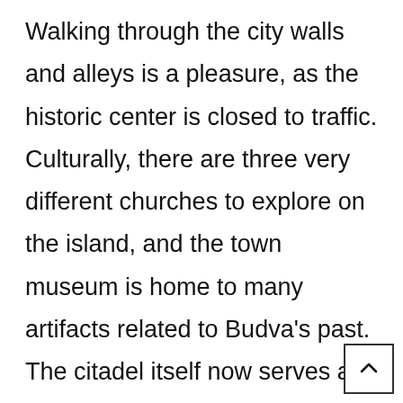Walking through the city walls and alleys is a pleasure, as the historic center is closed to traffic. Culturally, there are three very different churches to explore on the island, and the town museum is home to many artifacts related to Budva's past. The citadel itself now serves as a stage for concerts. The harbor is full of impressive yachts and several restaurants serving fresh seafood.

You will enjoy the view of the city walls i direction and of the mountains in the oth